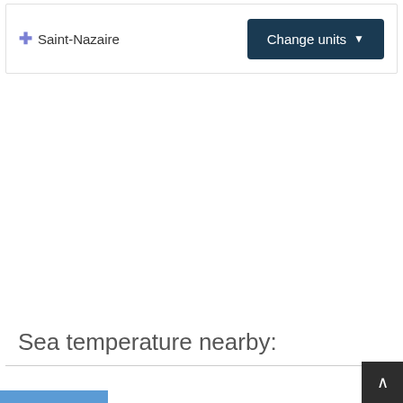[Figure (screenshot): Legend item showing Saint-Nazaire location marker with a blue cross/plus icon and label text, alongside a dark teal 'Change units' dropdown button]
Sea temperature nearby:
[Figure (screenshot): Bottom portion showing a horizontal divider line and a partial blue strip at the bottom left, with a dark back-to-top arrow button at bottom right]